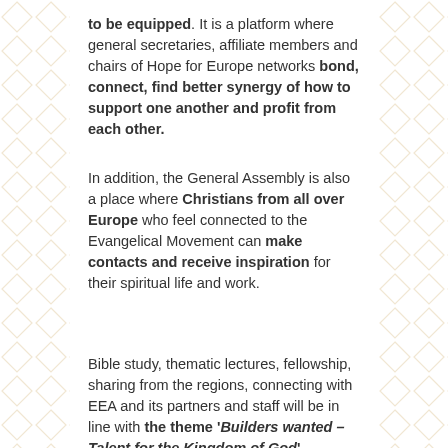to be equipped. It is a platform where general secretaries, affiliate members and chairs of Hope for Europe networks bond, connect, find better synergy of how to support one another and profit from each other.
In addition, the General Assembly is also a place where Christians from all over Europe who feel connected to the Evangelical Movement can make contacts and receive inspiration for their spiritual life and work.
Bible study, thematic lectures, fellowship, sharing from the regions, connecting with EEA and its partners and staff will be in line with the theme 'Builders wanted – Talent for the Kingdom of God'.